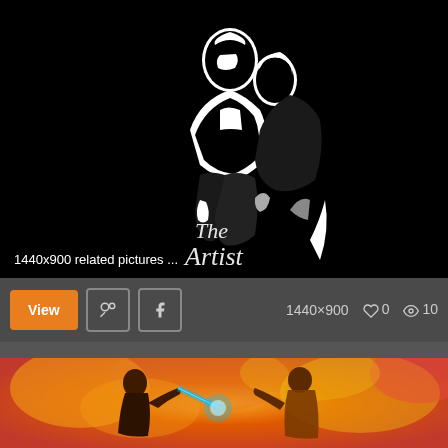[Figure (illustration): Black and white illustration of two figures (a man and woman in close proximity, romantic pose) with cursive text 'The Artist' below them, on a black background]
1440x900 related pictures ...
[Figure (other): UI toolbar with orange 'View' button, Pinterest and Facebook icon buttons, image dimensions '1440×900', heart icon with count '0', eye icon with count '10']
[Figure (illustration): Colorful painting/illustration of two figures fighting with lightsabers against an orange and red fiery background, resembling a Star Wars scene]